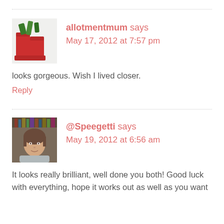[Figure (photo): Avatar image showing red rubber boots with green plants, belonging to commenter allotmentmum]
allotmentmum says
May 17, 2012 at 7:57 pm
looks gorgeous. Wish I lived closer.
Reply
[Figure (photo): Avatar image showing a woman with short brown hair, belonging to commenter @Speegetti]
@Speegetti says
May 19, 2012 at 6:56 am
It looks really brilliant, well done you both! Good luck with everything, hope it works out as well as you want